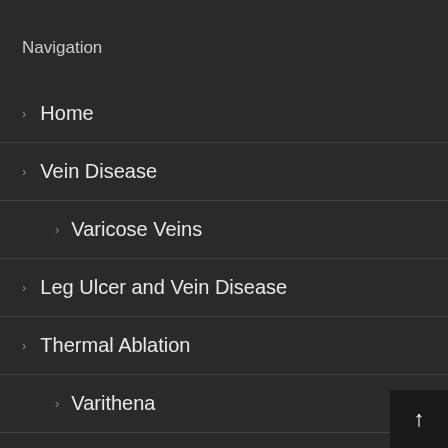Navigation
Home
Vein Disease
Varicose Veins
Leg Ulcer and Vein Disease
Thermal Ablation
Varithena
VenaSeal
Insurance Info
Blog